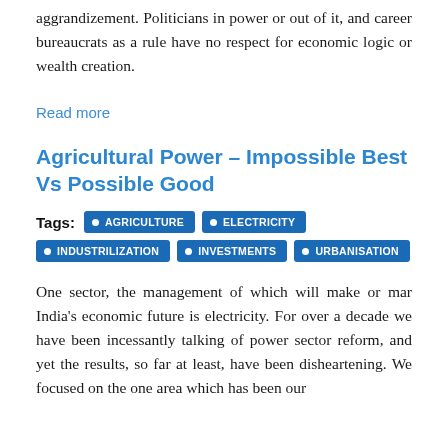aggrandizement. Politicians in power or out of it, and career bureaucrats as a rule have no respect for economic logic or wealth creation.
Read more
Agricultural Power – Impossible Best Vs Possible Good
Tags: AGRICULTURE ELECTRICITY INDUSTRILIZATION INVESTMENTS URBANISATION
One sector, the management of which will make or mar India's economic future is electricity. For over a decade we have been incessantly talking of power sector reform, and yet the results, so far at least, have been disheartening. We focused on the one area which has been our